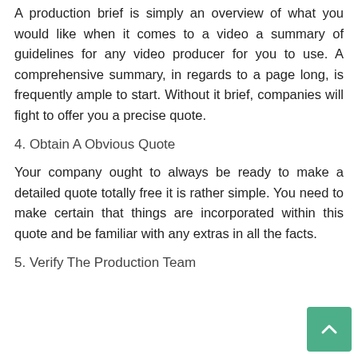A production brief is simply an overview of what you would like when it comes to a video a summary of guidelines for any video producer for you to use. A comprehensive summary, in regards to a page long, is frequently ample to start. Without it brief, companies will fight to offer you a precise quote.
4. Obtain A Obvious Quote
Your company ought to always be ready to make a detailed quote totally free it is rather simple. You need to make certain that things are incorporated within this quote and be familiar with any extras in all the facts.
5. Verify The Production Team